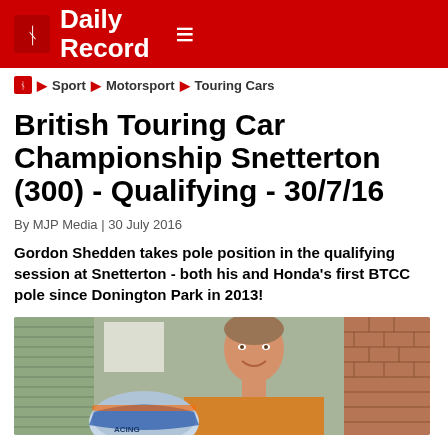Daily Record
Sport › Motorsport › Touring Cars
British Touring Car Championship Snetterton (300) - Qualifying - 30/7/16
By MJP Media | 30 July 2016
Gordon Shedden takes pole position in the qualifying session at Snetterton - both his and Honda's first BTCC pole since Donington Park in 2013!
[Figure (photo): Photo of Gordon Shedden smiling, holding a racing helmet, standing outside near brick wall and green siding]